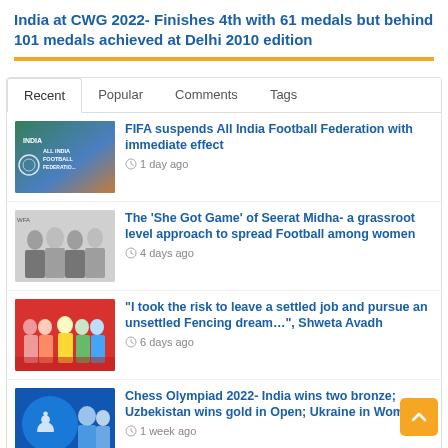India at CWG 2022- Finishes 4th with 61 medals but behind 101 medals achieved at Delhi 2010 edition
Recent | Popular | Comments | Tags
FIFA suspends All India Football Federation with immediate effect — 1 day ago
The ‘She Got Game’ of Seerat Midha- a grassroot level approach to spread Football among women — 4 days ago
“I took the risk to leave a settled job and pursue an unsettled Fencing dream…”, Shweta Avadh — 6 days ago
Chess Olympiad 2022- India wins two bronze; Uzbekistan wins gold in Open; Ukraine in Women’s — 1 week ago